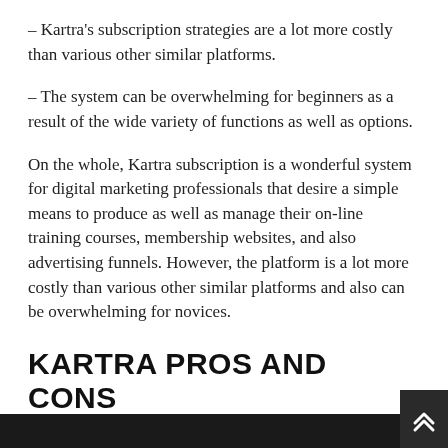– Kartra's subscription strategies are a lot more costly than various other similar platforms.
– The system can be overwhelming for beginners as a result of the wide variety of functions as well as options.
On the whole, Kartra subscription is a wonderful system for digital marketing professionals that desire a simple means to produce as well as manage their on-line training courses, membership websites, and also advertising funnels. However, the platform is a lot more costly than various other similar platforms and also can be overwhelming for novices.
KARTRA PROS AND CONS